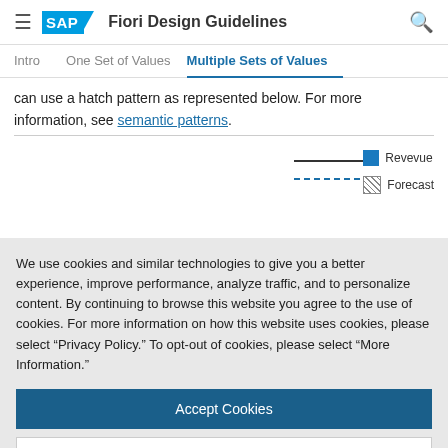SAP Fiori Design Guidelines
Multiple Sets of Values
can use a hatch pattern as represented below. For more information, see semantic patterns.
[Figure (other): Partial chart showing legend with Revenue (solid blue box) and Forecast (hatch pattern box), with solid and dashed lines visible.]
We use cookies and similar technologies to give you a better experience, improve performance, analyze traffic, and to personalize content. By continuing to browse this website you agree to the use of cookies. For more information on how this website uses cookies, please select “Privacy Policy.” To opt-out of cookies, please select “More Information.”
Accept Cookies
More Information
Privacy Policy | Powered by: TrustArc
Trend for actual and forecasted values